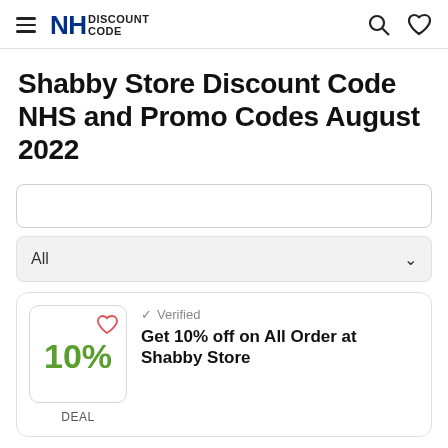NHS DISCOUNT CODE
Shabby Store Discount Code NHS and Promo Codes August 2022
All
✓ Verified
Get 10% off on All Order at Shabby Store
DEAL